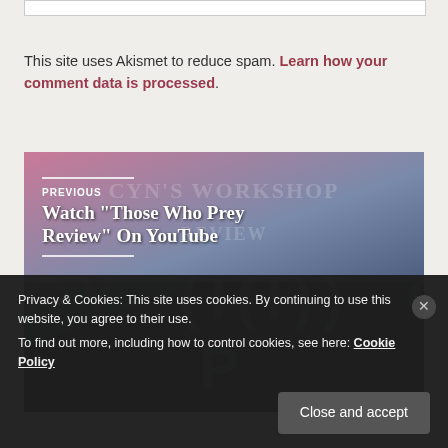[Figure (screenshot): Top of a white form input box partially visible]
This site uses Akismet to reduce spam. Learn how your comment data is processed.
[Figure (photo): Navigation block showing PREVIOUS post: Watch "Those Who Prey Review" on YouTube overlaid on a photo of a woman holding a book, with Cyn's Workshop Review text overlay. Below is NEXT navigation on dark background with stylized pop-art lettering.]
Privacy & Cookies: This site uses cookies. By continuing to use this website, you agree to their use.
To find out more, including how to control cookies, see here: Cookie Policy
Close and accept